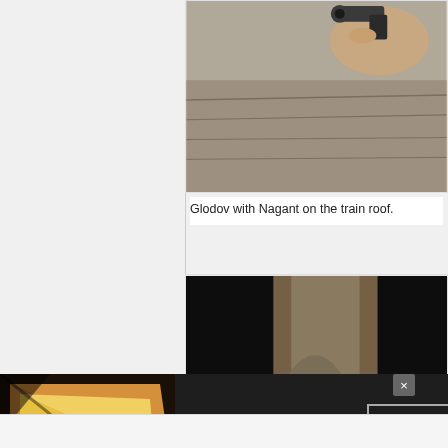[Figure (photo): A hand holding a Nagant revolver on top of a train roof, sandy/dusty surface visible below.]
Glodov with Nagant on the train roof.
[Figure (photo): Dark scene showing a person in beige/tan clothing appearing to work with or pour something dark into a container, strong contrast between dark background and figure.]
[Figure (other): Seamless food delivery advertisement banner featuring pizza, the Seamless logo button in red, and an ORDER NOW button.]